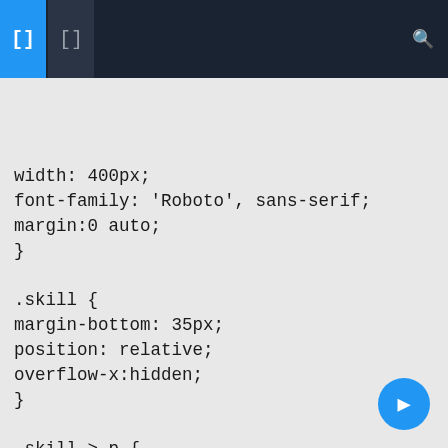Code editor toolbar with navigation icons
[Figure (screenshot): Code editor showing CSS code snippet with dark top navigation bar containing bracket icons and search icon, light gray background with monospace CSS code text, and a blue floating action button in bottom right corner]